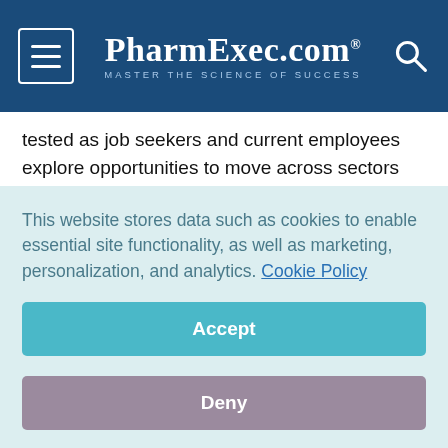PharmExec.com — MASTER THE SCIENCE OF SUCCESS
tested as job seekers and current employees explore opportunities to move across sectors and geographies, and assess the transferability of their skills to new entrants to the industry.
In the US, employment in the sector reportedly rose 24% between 2001 and 2018, and biotech research jobs alone have surged 26% since 2013. Global economic and population growth introduce new prospects for business growth and
This website stores data such as cookies to enable essential site functionality, as well as marketing, personalization, and analytics. Cookie Policy
Accept
Deny